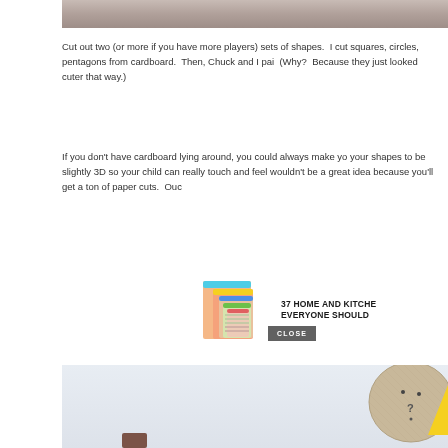[Figure (photo): Top portion of a photo showing a stone/concrete textured surface, partially cropped at top]
Cut out two (or more if you have more players) sets of shapes.  I cut squares, circles, pentagons from cardboard.  Then, Chuck and I pai  (Why?  Because they just looked cuter that way.)
If you don't have cardboard lying around, you could always make yo your shapes to be slightly 3D so your child can really touch and feel wouldn't be a great idea because you'll get a ton of paper cuts.  Ouc
[Figure (infographic): Advertisement banner showing colorful reusable silicone storage bags with bold text '37 HOME AND KITCHEN EVERYONE SHOULD']
[Figure (photo): Bottom photo showing a light blue/grey background with a round wooden cardboard shape with dot face details and a yellow triangular shape peeking from right edge. A CLOSE button overlay is visible.]